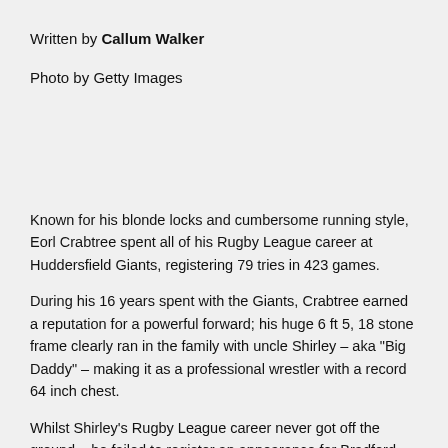Written by Callum Walker
Photo by Getty Images
Known for his blonde locks and cumbersome running style, Eorl Crabtree spent all of his Rugby League career at Huddersfield Giants, registering 79 tries in 423 games.
During his 16 years spent with the Giants, Crabtree earned a reputation for a powerful forward; his huge 6 ft 5, 18 stone frame clearly ran in the family with uncle Shirley – aka "Big Daddy" – making it as a professional wrestler with a record 64 inch chest.
Whilst Shirley's Rugby League career never got off the ground – he failed to register an appearance for Bradford Northern – Eorl's took off from the moment he stepped on the field. The forward left…